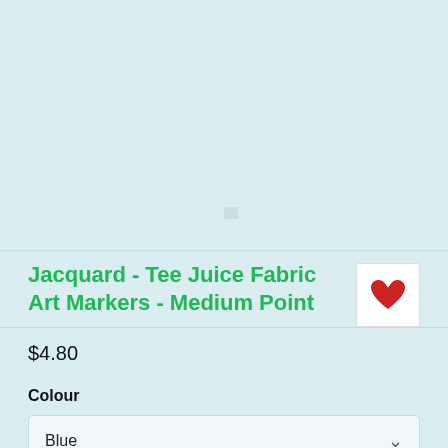Jacquard - Tee Juice Fabric Art Markers - Medium Point
$4.80
Colour
Blue